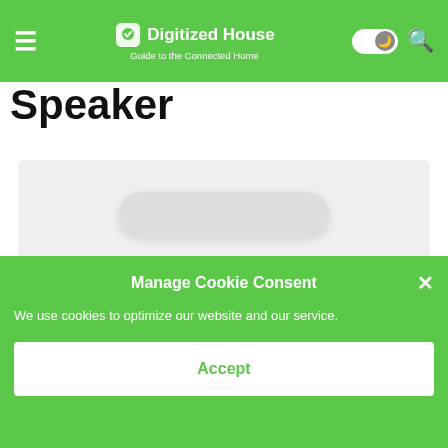Digitized House — Guide to the Connected Home
Speaker
[Figure (photo): White smart speaker device on a light gray background]
Manage Cookie Consent
We use cookies to optimize our website and our service.
Accept
JVLGDA 3rd Gene